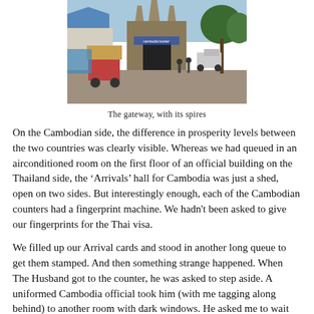[Figure (photo): A border crossing gateway with Angkor Wat-style spires on an arch, tuk-tuks and people visible in foreground, trees and vehicles in background.]
The gateway, with its spires
On the Cambodian side, the difference in prosperity levels between the two countries was clearly visible. Whereas we had queued in an airconditioned room on the first floor of an official building on the Thailand side, the ‘Arrivals’ hall for Cambodia was just a shed, open on two sides. But interestingly enough, each of the Cambodian counters had a fingerprint machine. We hadn't been asked to give our fingerprints for the Thai visa.
We filled up our Arrival cards and stood in another long queue to get them stamped. And then something strange happened. When The Husband got to the counter, he was asked to step aside. A uniformed Cambodia official took him (with me tagging along behind) to another room with dark windows. He asked me to wait outside.
I waited outside that room for what seemed like ages, with